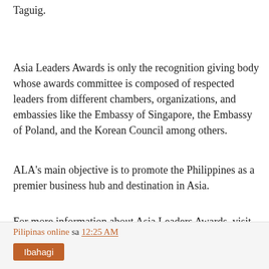Taguig.
Asia Leaders Awards is only the recognition giving body whose awards committee is composed of respected leaders from different chambers, organizations, and embassies like the Embassy of Singapore, the Embassy of Poland, and the Korean Council among others.
ALA's main objective is to promote the Philippines as a premier business hub and destination in Asia.
For more information about Asia Leaders Awards, visit https://www.facebook.com/AsiaLeadersAwards.
Pilipinas online sa 12:25 AM
Ibahagi